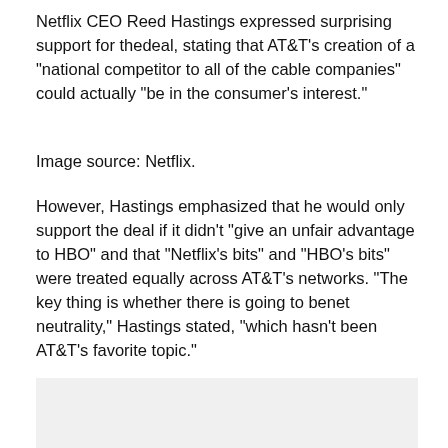Netflix CEO Reed Hastings expressed surprising support for thedeal, stating that AT&T's creation of a "national competitor to all of the cable companies" could actually "be in the consumer's interest."
Image source: Netflix.
However, Hastings emphasized that he would only support the deal if it didn't "give an unfair advantage to HBO" and that "Netflix's bits" and "HBO's bits" were treated equally across AT&T's networks. "The key thing is whether there is going to benet neutrality," Hastings stated, "which hasn't been AT&T's favorite topic."
[Figure (photo): Gray placeholder image area at the bottom of the page]